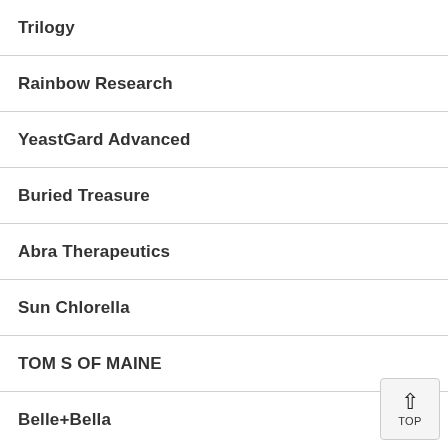Trilogy
Rainbow Research
YeastGard Advanced
Buried Treasure
Abra Therapeutics
Sun Chlorella
TOM S OF MAINE
Belle+Bella